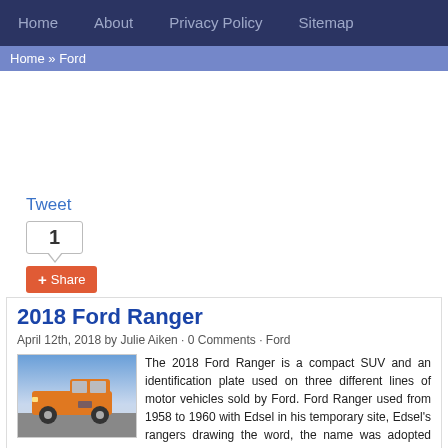Home  About  Privacy Policy  Sitemap
Home » Ford
2018 Ford Ranger
April 12th, 2018 by Julie Aiken · 0 Comments · Ford
[Figure (photo): Orange Ford Ranger pickup truck on rocky terrain with cloudy sky]
The 2018 Ford Ranger is a compact SUV and an identification plate used on three different lines of motor vehicles sold by Ford. Ford Ranger used from 1958 to 1960 with Edsel in his temporary site, Edsel's rangers drawing the word, the name was adopted between 1965